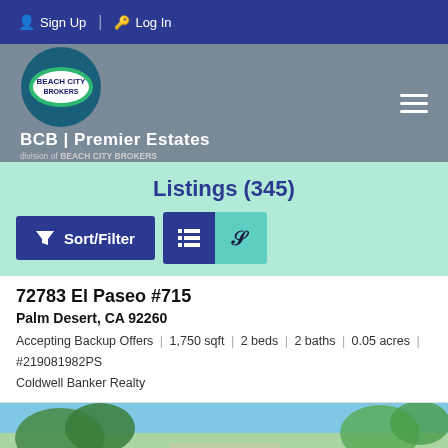Sign Up | Log In
[Figure (logo): Beach City Brokers logo with BCB Premier Estates branding and hamburger menu icon]
Listings (345)
Sort/Filter | list view | map view buttons
72783 El Paseo #715
Palm Desert, CA 92260
Accepting Backup Offers | 1,750 sqft | 2 beds | 2 baths | 0.05 acres | #219081982PS
Coldwell Banker Realty
[Figure (photo): Exterior photo of a property with trees and blue sky]